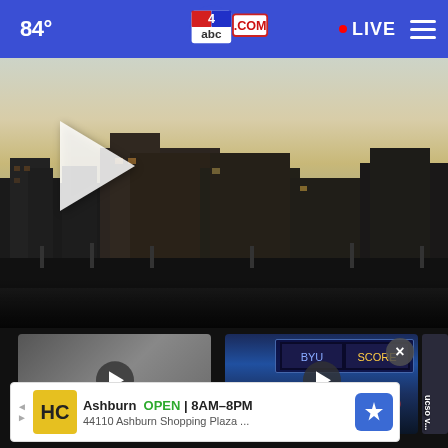84° | abc4.com | LIVE
[Figure (screenshot): Hero video thumbnail showing apartment buildings at dusk/dawn with a large white play button overlay on the left side]
[Figure (screenshot): Thumbnail card labeled 'meteor' with play button]
[Figure (screenshot): Thumbnail card labeled 'AB C4 News at 6 BYU Racing investigation' showing a sports arena/basketball game crowd, with play button and an X close button]
[Figure (screenshot): Partial thumbnail card labeled 'ucso v...']
Ashburn  OPEN  8AM-8PM
44110 Ashburn Shopping Plaza ...